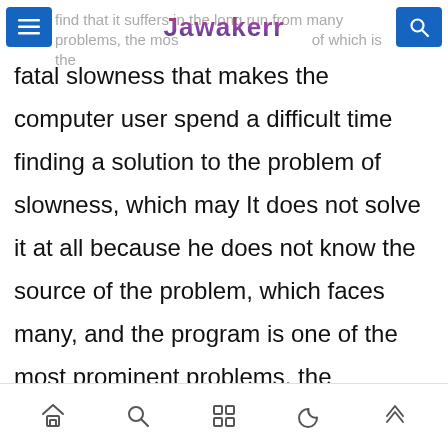Jawakerr
find that it suffers in the long run from many problems, the most important of which is the fatal slowness that makes the computer user spend a difficult time finding a solution to the problem of slowness, which may It does not solve it at all because he does not know the source of the problem, which faces many, and the program is one of the most prominent problems, the problems of the registry and permissions of programs that consume a large area of RAM or random access memory, and it is one of the problems that makes the device suffer a lot. Therefore, programmers created
home search grid moon up